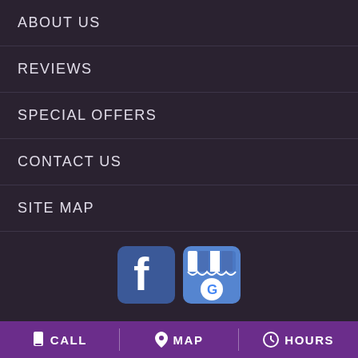ABOUT US
REVIEWS
SPECIAL OFFERS
CONTACT US
SITE MAP
[Figure (logo): Facebook logo icon (blue square with white 'f') and Google My Business logo icon (blue rounded square with Google 'G' and awning)]
MELAINA'S FLOWERS
2302 US HWY 80 W.
CALL   MAP   HOURS